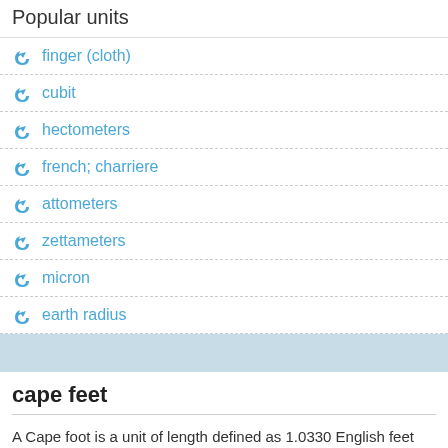Popular units
finger (cloth)
cubit
hectometers
french; charriere
attometers
zettameters
micron
earth radius
cape feet
A Cape foot is a unit of length defined as 1.0330 English feet (and equal to 12.396 English inches, or 0.31485557516 meters) found